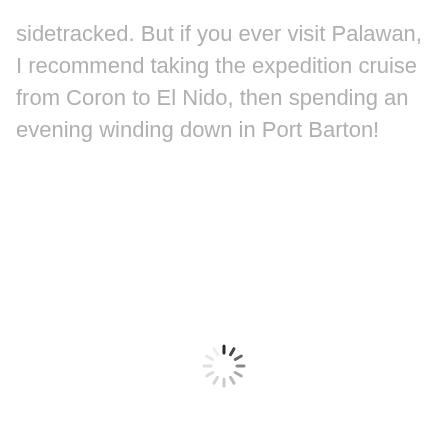sidetracked. But if you ever visit Palawan, I recommend taking the expedition cruise from Coron to El Nido, then spending an evening winding down in Port Barton!
[Figure (other): A loading spinner icon (circular dashed spinner) centered on the lower half of the page]